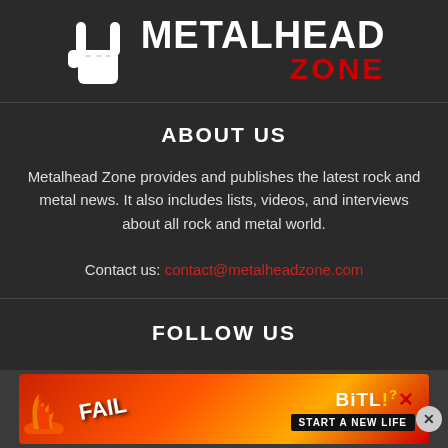[Figure (logo): Metalhead Zone logo with a white hand making a rock/metal gesture and bold text reading METALHEAD in white and ZONE in red]
ABOUT US
Metalhead Zone provides and publishes the latest rock and metal news. It also includes lists, videos, and interviews about all rock and metal world.
Contact us: contact@metalheadzone.com
FOLLOW US
[Figure (illustration): BitLife mobile game advertisement banner with flames, cartoon character, and 'START A NEW LIFE' tagline]